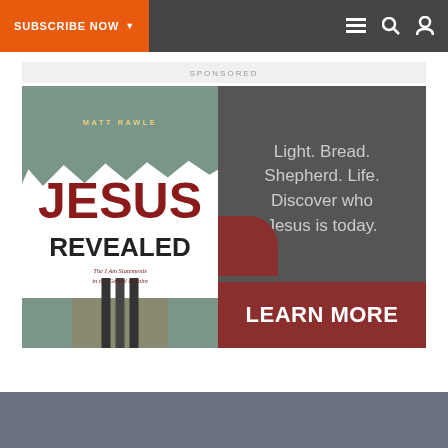SUBSCRIBE NOW ▼
SPONSORED
[Figure (illustration): Advertisement for book 'Jesus Revealed: The I Am Statements in the Gospel of John' by Matt Rawle. Left half shows book cover with 'JESUS REVEALED' title in dark red and black, author name 'MATT RAWLE' at top, subtitle 'The I Am Statements in the Gospel of John'. Right half shows dark gray panel with text 'Light. Bread. Shepherd. Life. Discover who Jesus is today.' and a dark red button at the bottom reading 'LEARN MORE'.]